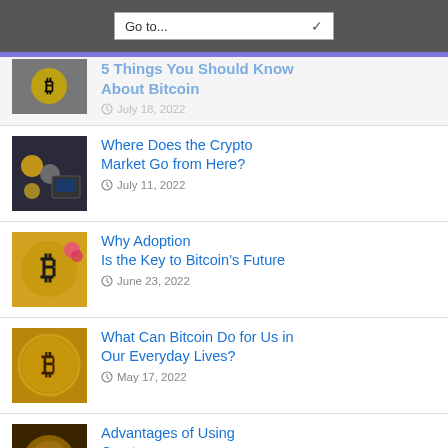Go to...
5 Things You Should Know About Bitcoin — July 18, 2022
Where Does the Crypto Market Go from Here? — July 11, 2022
Why Adoption Is the Key to Bitcoin's Future — June 23, 2022
What Can Bitcoin Do for Us in Our Everyday Lives? — May 17, 2022
Advantages of Using Cryptocurrency — March 15, 2022
Top 4 Tips For Secure Crypto Storage